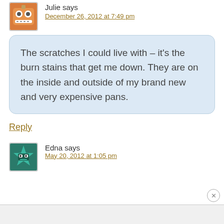Julie says
December 26, 2012 at 7:49 pm
The scratches I could live with – it's the burn stains that get me down. They are on the inside and outside of my brand new and very expensive pans.
Reply
Edna says
May 20, 2012 at 1:05 pm